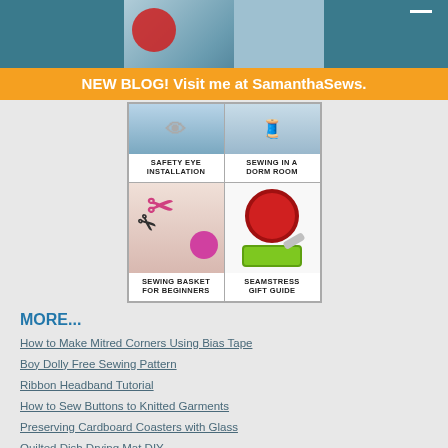[Figure (photo): Top banner with teal/blue background and partial sewing-related imagery]
NEW BLOG! Visit me at SamanthaSews.
[Figure (illustration): 2x2 grid of four sewing topic images: Safety Eye Installation, Sewing in a Dorm Room, Sewing Basket for Beginners, Seamstress Gift Guide]
MORE...
How to Make Mitred Corners Using Bias Tape
Boy Dolly Free Sewing Pattern
Ribbon Headband Tutorial
How to Sew Buttons to Knitted Garments
Preserving Cardboard Coasters with Glass
Quilted Dish Drying Mat DIY
CATEGORIES